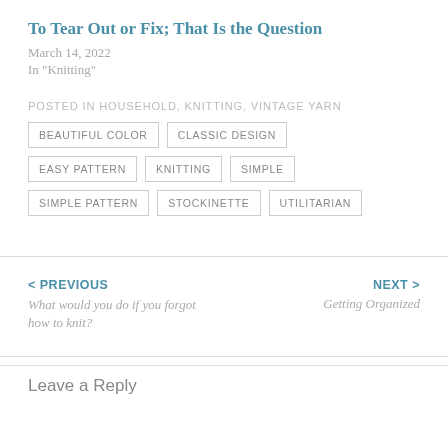To Tear Out or Fix; That Is the Question
March 14, 2022
In "Knitting"
POSTED IN HOUSEHOLD, KNITTING, VINTAGE YARN
BEAUTIFUL COLOR
CLASSIC DESIGN
EASY PATTERN
KNITTING
SIMPLE
SIMPLE PATTERN
STOCKINETTE
UTILITARIAN
< PREVIOUS
What would you do if you forgot how to knit?
NEXT >
Getting Organized
Leave a Reply